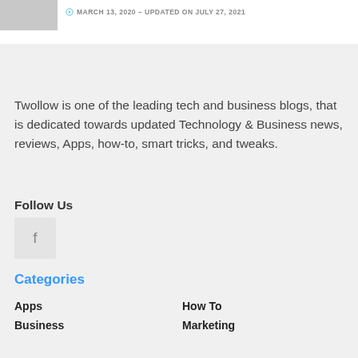[Figure (photo): Small thumbnail image in top-left corner]
MARCH 13, 2020 – UPDATED ON JULY 27, 2021
Twollow is one of the leading tech and business blogs, that is dedicated towards updated Technology & Business news, reviews, Apps, how-to, smart tricks, and tweaks.
Follow Us
[Figure (logo): Facebook icon button (f) in a light gray square]
Categories
Apps
How To
Business
Marketing